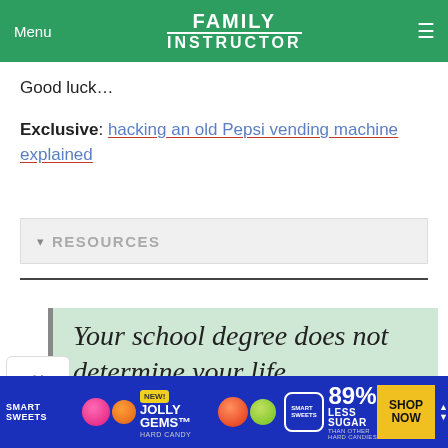Menu  FAMILY INSTRUCTOR  ☰
Good luck…
Exclusive: hacking an old Pepsi vending machine explained
▾  RESOURCES
[Figure (illustration): Light green promotional banner with italic serif text: 'Your school degree does not determine your life']
[Figure (infographic): Advertisement banner for Smart Sweets Jolly Gems Hard Candy. Blue background. Shows candy circles, NEW badge, product name 'JOLLY GEMS HARD CANDY', 89% LESS SUGAR than other hard candies, SHOP NOW yellow button.]